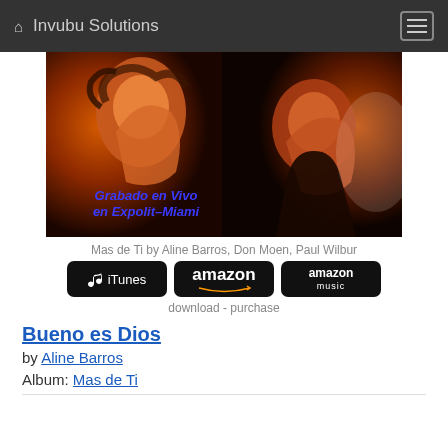Invubu Solutions
[Figure (photo): Album cover for Mas de Ti — orange-toned photo of two singers, with text 'Grabado en Vivo en Expolit–Miami' in blue italic bold text]
Mas de Ti by Aline Barros, Don Moen, Paul Wilbur
[Figure (other): Three download/purchase badges: iTunes (Apple), amazon, amazon music]
download - purchase
Bueno es Dios
by Aline Barros
Album: Mas de Ti